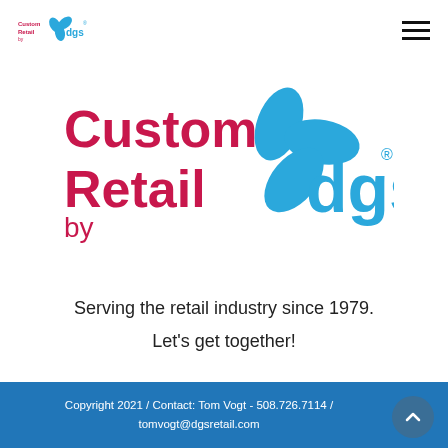[Figure (logo): Custom Retail by dgs logo in page header, small version]
[Figure (logo): Custom Retail by dgs logo, large centered. 'Custom Retail by' in crimson/pink text and 'dgs' in blue with blue propeller/fan icon and registered trademark symbol]
Serving the retail industry since 1979.
Let's get together!
Copyright 2021 / Contact: Tom Vogt - 508.726.7114 / tomvogt@dgsretail.com